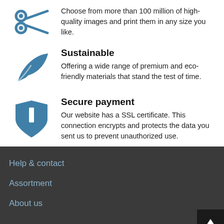[Figure (illustration): Blue scissors icon at top left]
Choose from more than 100 million of high-quality images and print them in any size you like.
[Figure (illustration): Blue leaf/eco icon]
Sustainable
Offering a wide range of premium and eco-friendly materials that stand the test of time.
[Figure (illustration): Blue shield/secure payment icon]
Secure payment
Our website has a SSL certificate. This connection encrypts and protects the data you sent us to prevent unauthorized use.
Help & contact
Assortment
About us